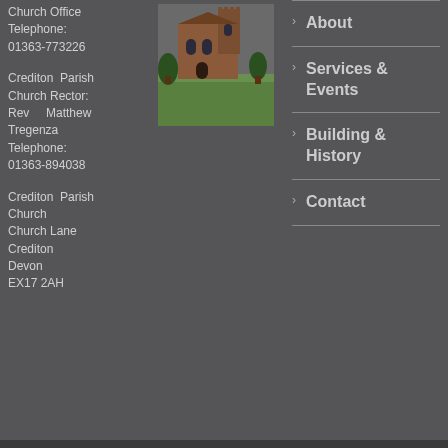Church Office
Telephone:
01363-773226
Crediton Parish Church Rector:
Rev Matthew Tregenza
Telephone:
01363-894038
[Figure (photo): Exterior photo of Crediton Parish Church building with green lawn in foreground]
Crediton Parish Church
Church Lane
Crediton
Devon
EX17 2AH
About
Services & Events
Building & History
Contact